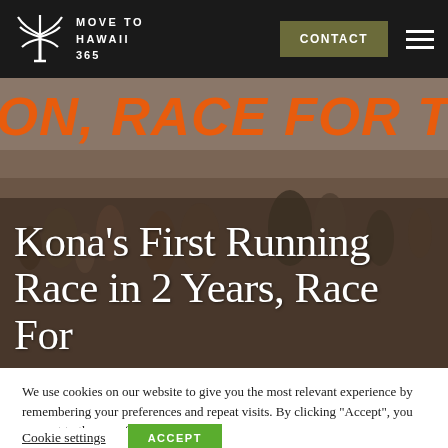MOVE TO HAWAII 365 — CONTACT
[Figure (screenshot): Hero image showing runners at a Kona race with orange banner text 'ON, RACE FOR THE H' and overlay title 'Kona’s First Running Race in 2 Years, Race For' in white serif font]
Kona’s First Running Race in 2 Years, Race For
We use cookies on our website to give you the most relevant experience by remembering your preferences and repeat visits. By clicking “Accept”, you consent to the use of ALL the cookies.
Cookie settings | ACCEPT